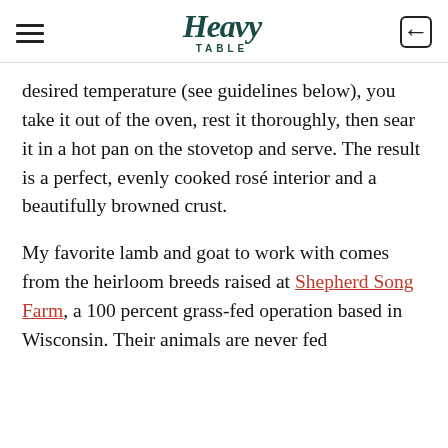Heavy Table
desired temperature (see guidelines below), you take it out of the oven, rest it thoroughly, then sear it in a hot pan on the stovetop and serve. The result is a perfect, evenly cooked rosé interior and a beautifully browned crust.
My favorite lamb and goat to work with comes from the heirloom breeds raised at Shepherd Song Farm, a 100 percent grass-fed operation based in Wisconsin. Their animals are never fed